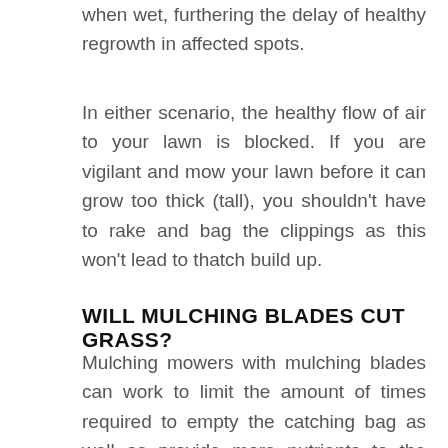when wet, furthering the delay of healthy regrowth in affected spots.
In either scenario, the healthy flow of air to your lawn is blocked. If you are vigilant and mow your lawn before it can grow too thick (tall), you shouldn't have to rake and bag the clippings as this won't lead to thatch build up.
WILL MULCHING BLADES CUT GRASS?
Mulching mowers with mulching blades can work to limit the amount of times required to empty the catching bag as well as provide more nutrients to the lawn. Mulching lawn mowers can, if used incorrectly, leave clumps of unwanted